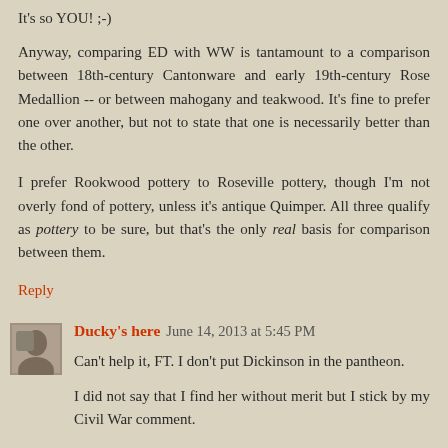It's so YOU! ;-)
Anyway, comparing ED with WW is tantamount to a comparison between 18th-century Cantonware and early 19th-century Rose Medallion -- or between mahogany and teakwood. It's fine to prefer one over another, but not to state that one is necessarily better than the other.
I prefer Rookwood pottery to Roseville pottery, though I'm not overly fond of pottery, unless it's antique Quimper. All three qualify as pottery to be sure, but that's the only real basis for comparison between them.
Reply
Ducky's here  June 14, 2013 at 5:45 PM
Can't help it, FT. I don't put Dickinson in the pantheon.
I did not say that I find her without merit but I stick by my Civil War comment.